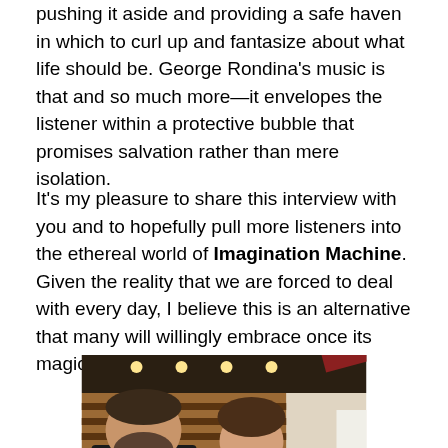pushing it aside and providing a safe haven in which to curl up and fantasize about what life should be. George Rondina's music is that and so much more—it envelopes the listener within a protective bubble that promises salvation rather than mere isolation.
It's my pleasure to share this interview with you and to hopefully pull more listeners into the ethereal world of Imagination Machine. Given the reality that we are forced to deal with every day, I believe this is an alternative that many will willingly embrace once its magic has touched the soul.
[Figure (photo): Two people posing together in what appears to be a recording studio with a wood-paneled wall and recessed ceiling lights. On the left is a man in a dark jacket, and on the right is a woman in blue holding a violin.]